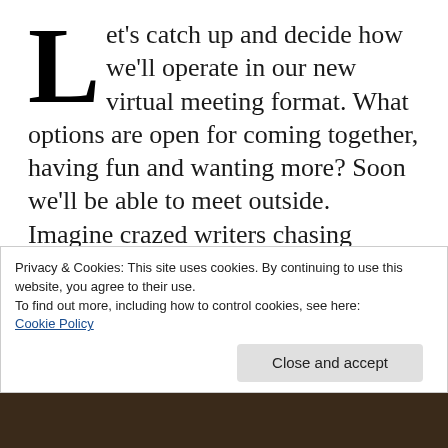Let's catch up and decide how we'll operate in our new virtual meeting format. What options are open for coming together, having fun and wanting more? Soon we'll be able to meet outside. Imagine crazed writers chasing elusive, flapping papers down Elie beach on windy days.
Watch this space as we go forward–soon.
Privacy & Cookies: This site uses cookies. By continuing to use this website, you agree to their use. To find out more, including how to control cookies, see here: Cookie Policy
[Figure (photo): Bottom strip showing a dark photograph, partially visible]